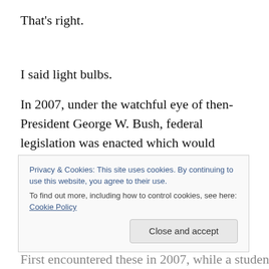That's right.
I said light bulbs.
In 2007, under the watchful eye of then-President George W. Bush, federal legislation was enacted which would require a reduction in household energy-consumption, including more efficient light bulbs by 1 January, 2012.
Privacy & Cookies: This site uses cookies. By continuing to use this website, you agree to their use.
To find out more, including how to control cookies, see here: Cookie Policy
First encountered these in 2007, while a student at the